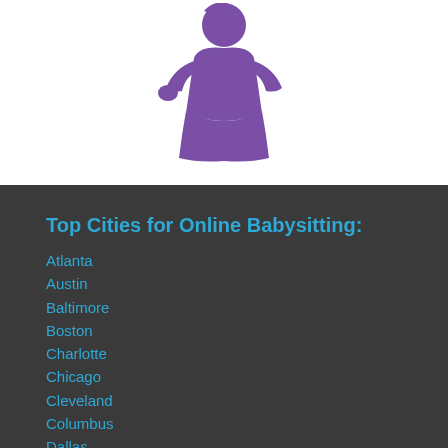[Figure (illustration): Purple silhouette illustration of a babysitter/nanny figure holding something, centered in white area at top of page]
Top Cities for Online Babysitting:
Atlanta
Austin
Baltimore
Boston
Charlotte
Chicago
Cleveland
Columbus
Dallas